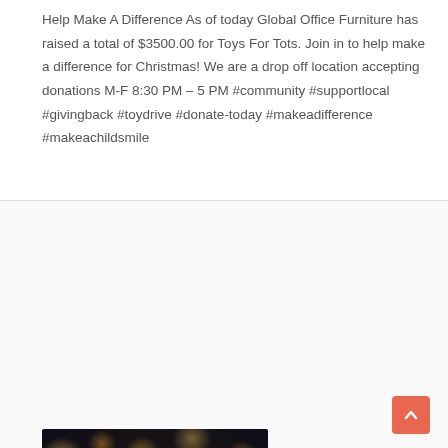Help Make A Difference As of today Global Office Furniture has raised a total of $3500.00 for Toys For Tots. Join in to help make a difference for Christmas! We are a drop off location accepting donations M-F 8:30 PM – 5 PM #community #supportlocal #givingback #toydrive #donate-today #makeadifference #makeachildsmile
[Figure (photo): Toys For Tots logo on a red toy train, set against a bokeh background of warm golden lights]